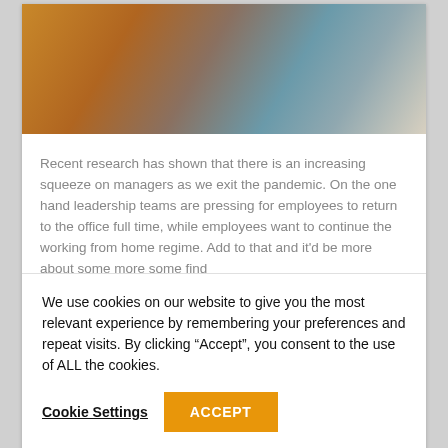[Figure (photo): Photo of two people, one wearing an orange/mustard top and headscarf pointing at something, another person in the background wearing a grey-blue top.]
Recent research has shown that there is an increasing squeeze on managers as we exit the pandemic. On the one hand leadership teams are pressing for employees to return to the office full time, while employees want to continue the working from home regime. Add to that and it'd be good to have more about some find...
We use cookies on our website to give you the most relevant experience by remembering your preferences and repeat visits. By clicking “Accept”, you consent to the use of ALL the cookies.
Cookie Settings
ACCEPT